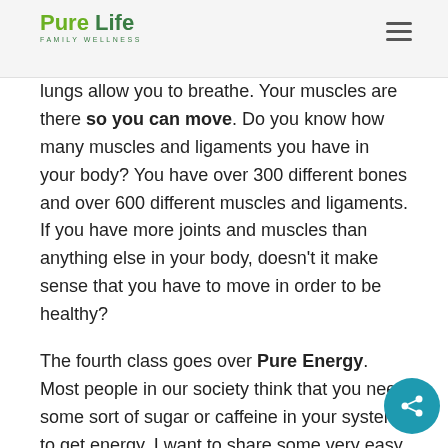Pure Life Family Wellness
lungs allow you to breathe. Your muscles are there so you can move. Do you know how many muscles and ligaments you have in your body? You have over 300 different bones and over 600 different muscles and ligaments. If you have more joints and muscles than anything else in your body, doesn't it make sense that you have to move in order to be healthy?
The fourth class goes over Pure Energy. Most people in our society think that you need some sort of sugar or caffeine in your system to get energy. I want to share some very easy